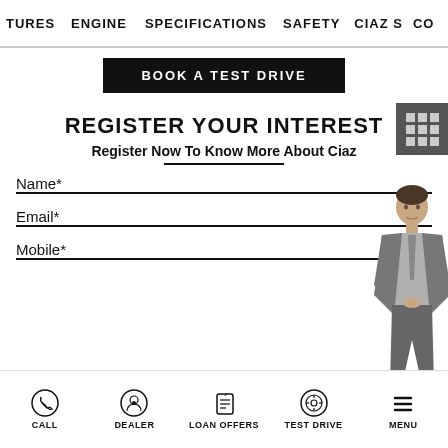TURES  ENGINE  SPECIFICATIONS  SAFETY  CIAZ S  CO
BOOK A TEST DRIVE
REGISTER YOUR INTEREST
Register Now To Know More About Ciaz
Name*
Email*
Mobile*
[Figure (illustration): 3D rendered figure of a man in a grey suit]
CALL  DEALER  LOAN OFFERS  TEST DRIVE  MENU